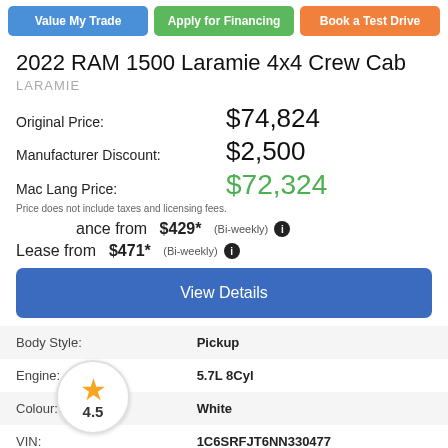Value My Trade
Apply for Financing
Book a Test Drive
2022 RAM 1500 Laramie 4x4 Crew Cab
LARAMIE
Original Price: $74,824
Manufacturer Discount: $2,500
Mac Lang Price: $72,324
Price does not include taxes and licensing fees.
Finance from $429* (Bi-weekly)
Lease from $471* (Bi-weekly)
View Details
|  |  |
| --- | --- |
| Body Style: | Pickup |
| Engine: | 5.7L 8Cyl |
| Colour: | White |
| VIN: | 1C6SRFJT6NN330477 |
| Transmission: | Automatic |